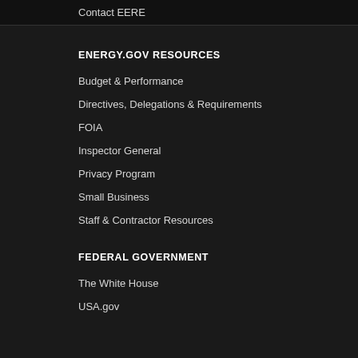Contact EERE
ENERGY.GOV RESOURCES
Budget & Performance
Directives, Delegations & Requirements
FOIA
Inspector General
Privacy Program
Small Business
Staff & Contractor Resources
FEDERAL GOVERNMENT
The White House
USA.gov